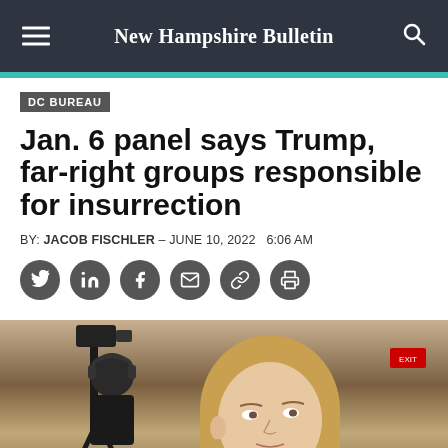New Hampshire Bulletin
DC BUREAU
Jan. 6 panel says Trump, far-right groups responsible for insurrection
BY: JACOB FISCHLER – JUNE 10, 2022   6:06 AM
[Figure (other): Social sharing icons: Twitter, LinkedIn, Facebook, Email, Link, Print]
[Figure (photo): Photo of a blonde woman looking upward, with a camera operator visible in the background, taken at what appears to be a formal hearing or event venue.]